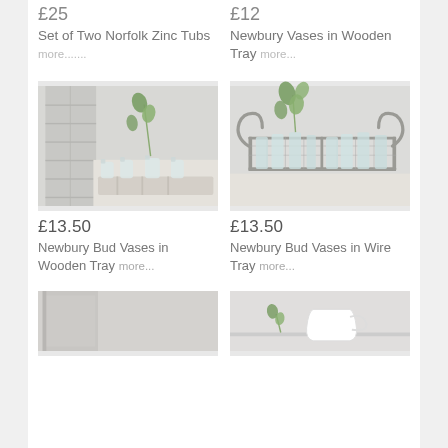£25
Set of Two Norfolk Zinc Tubs more.......
£12
Newbury Vases in Wooden Tray more...
[Figure (photo): Small glass bud vases in a white wooden tray with a eucalyptus sprig]
£13.50
Newbury Bud Vases in Wooden Tray more...
[Figure (photo): Glass bud vases in a wire tray with a eucalyptus sprig]
£13.50
Newbury Bud Vases in Wire Tray more...
[Figure (photo): Bottom left product partially visible]
[Figure (photo): Bottom right product partially visible]